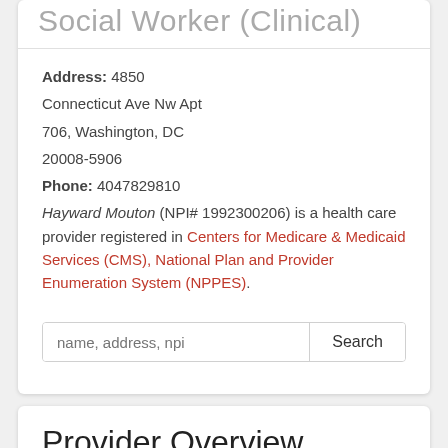Social Worker (Clinical)
Address: 4850 Connecticut Ave Nw Apt 706, Washington, DC 20008-5906
Phone: 4047829810
Hayward Mouton (NPI# 1992300206) is a health care provider registered in Centers for Medicare & Medicaid Services (CMS), National Plan and Provider Enumeration System (NPPES).
Provider Overview
| Nation Provider Identifier (NPI) |  |
| --- | --- |
| Nation Provider Identifier (NPI) | 1992300206 |